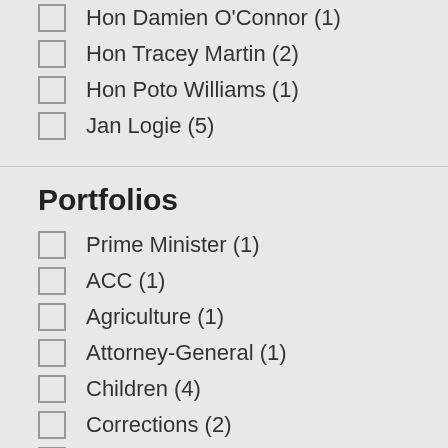Hon Damien O'Connor (1)
Hon Tracey Martin (2)
Hon Poto Williams (1)
Jan Logie (5)
Portfolios
Prime Minister (1)
ACC (1)
Agriculture (1)
Attorney-General (1)
Children (4)
Corrections (2)
Courts (2)
Education (3)